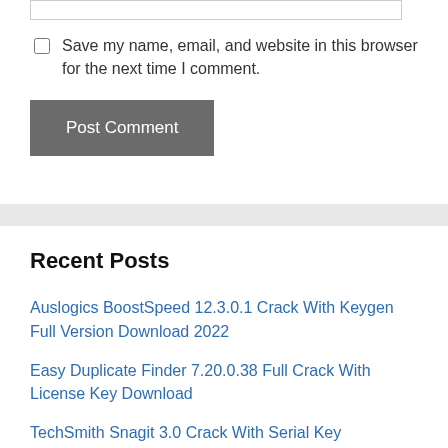Save my name, email, and website in this browser for the next time I comment.
Post Comment
Recent Posts
Auslogics BoostSpeed 12.3.0.1 Crack With Keygen Full Version Download 2022
Easy Duplicate Finder 7.20.0.38 Full Crack With License Key Download
TechSmith Snagit 3.0 Crack With Serial Key